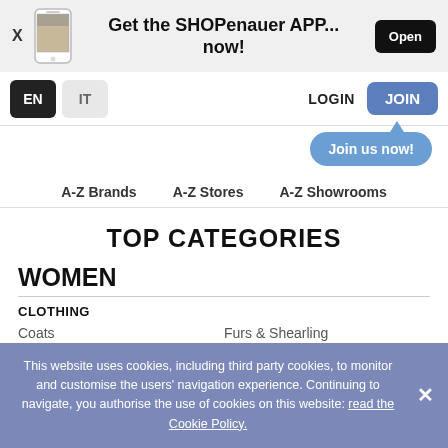[Figure (screenshot): App banner with phone image, 'Get the SHOPenauer APP... now!' text, and Open button]
Get the SHOPenauer APP... now!
EN | IT | LOGIN | JOIN
Join us now!
A-Z Brands   A-Z Stores   A-Z Showrooms
TOP CATEGORIES
WOMEN
CLOTHING
Coats
Furs & Shearling
This website uses cookies, including third party cookies, to monitor and customise the users' navigation experience. Continuing to navigate, you authorise the use of cookies on this website: read the Cookie Policy.